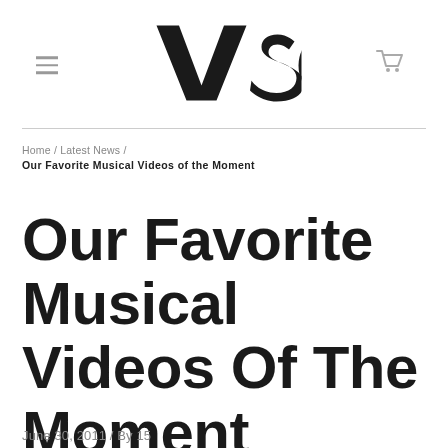VSQ (logo)
Home / Latest News / Our Favorite Musical Videos of the Moment
Our Favorite Musical Videos Of The Moment
June 30, 2011 / By 15